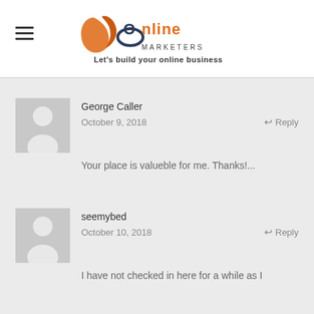[Figure (logo): JC Online Marketers logo with orange swoosh graphic and text 'Online MARKETERS' and tagline 'Let's build your online business']
George Caller
October 9, 2018
Reply
Your place is valueble for me. Thanks!...
seemybed
October 10, 2018
Reply
I have not checked in here for a while as I